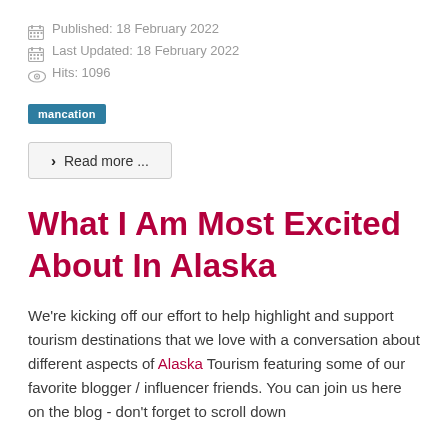Published: 18 February 2022
Last Updated: 18 February 2022
Hits: 1096
mancation
Read more ...
What I Am Most Excited About In Alaska
We're kicking off our effort to help highlight and support tourism destinations that we love with a conversation about different aspects of Alaska Tourism featuring some of our favorite blogger / influencer friends. You can join us here on the blog - don't forget to scroll down